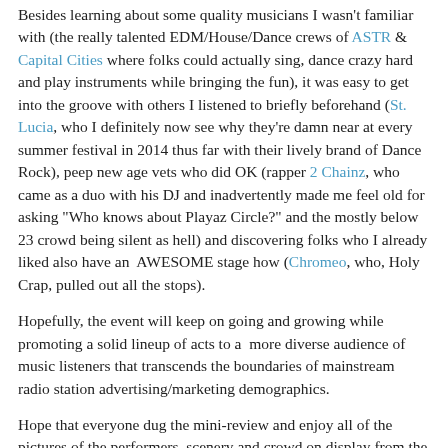Besides learning about some quality musicians I wasn't familiar with (the really talented EDM/House/Dance crews of ASTR & Capital Cities where folks could actually sing, dance crazy hard and play instruments while bringing the fun), it was easy to get into the groove with others I listened to briefly beforehand (St. Lucia, who I definitely now see why they're damn near at every summer festival in 2014 thus far with their lively brand of Dance Rock), peep new age vets who did OK (rapper 2 Chainz, who came as a duo with his DJ and inadvertently made me feel old for asking "Who knows about Playaz Circle?" and the mostly below 23 crowd being silent as hell) and discovering folks who I already liked also have an  AWESOME stage how (Chromeo, who, Holy Crap, pulled out all the stops).
Hopefully, the event will keep on going and growing while promoting a solid lineup of acts to a  more diverse audience of music listeners that transcends the boundaries of mainstream radio station advertising/marketing demographics.
Hope that everyone dug the mini-review and enjoy all of the pictures of the performers, scenery and crowd on display from the Sweetlife Festival below! :) - DJ Fusion (FuseBox Radio